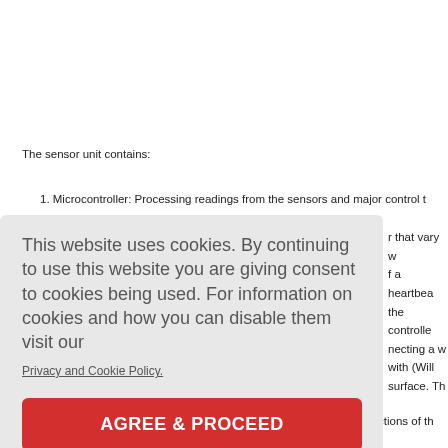The sensor unit contains:
1. Microcontroller: Processing readings from the sensors and major control t…
This website uses cookies. By continuing to use this website you are giving consent to cookies being used. For information on cookies and how you can disable them visit our
Privacy and Cookie Policy.
AGREE & PROCEED
The main controller unit shown in [Figure 3] does most of the main functions of th…